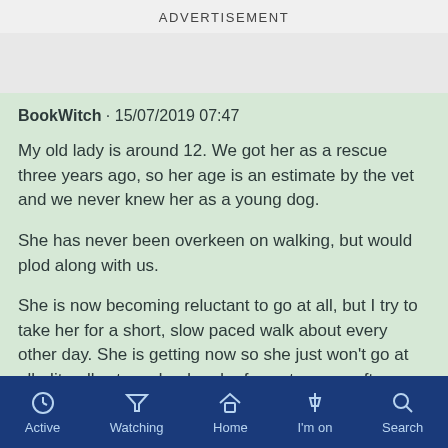ADVERTISEMENT
BookWitch · 15/07/2019 07:47
My old lady is around 12. We got her as a rescue three years ago, so her age is an estimate by the vet and we never knew her as a young dog.
She has never been overkeen on walking, but would plod along with us.
She is now becoming reluctant to go at all, but I try to take her for a short, slow paced walk about every other day. She is getting now so she just won't go at all - literally stops dead and refuses to move after about 25metres (she is
Active  Watching  Home  I'm on  Search